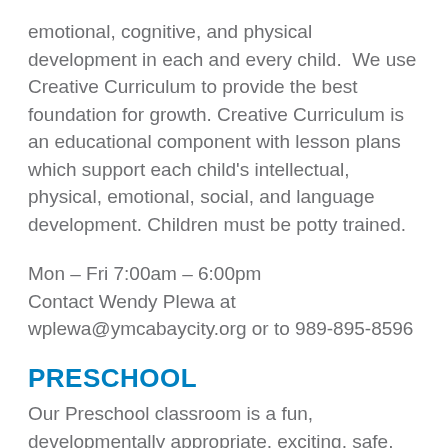emotional, cognitive, and physical development in each and every child.  We use Creative Curriculum to provide the best foundation for growth. Creative Curriculum is an educational component with lesson plans which support each child's intellectual, physical, emotional, social, and language development. Children must be potty trained.
Mon – Fri 7:00am – 6:00pm
Contact Wendy Plewa at wplewa@ymcabaycity.org or to 989-895-8596
PRESCHOOL
Our Preschool classroom is a fun, developmentally appropriate, exciting, safe, loving, and healthy learning environment for our older preschool